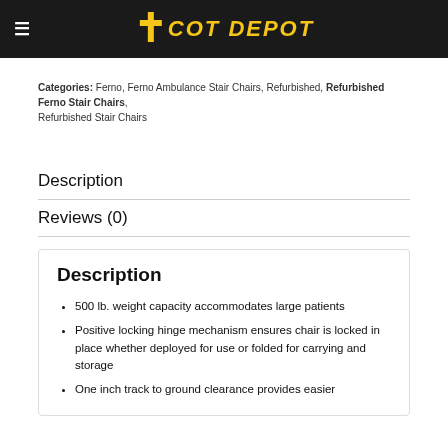≡ COT DEPOT
Categories: Ferno, Ferno Ambulance Stair Chairs, Refurbished, Refurbished Ferno Stair Chairs, Refurbished Stair Chairs
Description
Reviews (0)
Description
500 lb. weight capacity accommodates large patients
Positive locking hinge mechanism ensures chair is locked in place whether deployed for use or folded for carrying and storage
One inch track to ground clearance provides easier